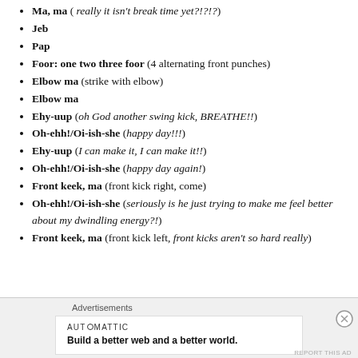Ma, ma ( really it isn't break time yet?!?!?)
Jeb
Pap
Foor: one two three foor (4 alternating front punches)
Elbow ma (strike with elbow)
Elbow ma
Ehy-uup (oh God another swing kick, BREATHE!!)
Oh-ehh!/Oi-ish-she (happy day!!!)
Ehy-uup (I can make it, I can make it!!)
Oh-ehh!/Oi-ish-she (happy day again!)
Front keek, ma (front kick right, come)
Oh-ehh!/Oi-ish-she (seriously is he just trying to make me feel better about my dwindling energy?!)
Front keek, ma (front kick left, front kicks aren't so hard really)
Advertisements
AUTOMATTIC — Build a better web and a better world.